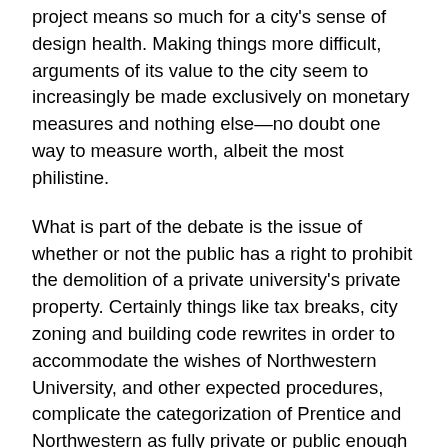project means so much for a city's sense of design health. Making things more difficult, arguments of its value to the city seem to increasingly be made exclusively on monetary measures and nothing else—no doubt one way to measure worth, albeit the most philistine.
What is part of the debate is the issue of whether or not the public has a right to prohibit the demolition of a private university's private property. Certainly things like tax breaks, city zoning and building code rewrites in order to accommodate the wishes of Northwestern University, and other expected procedures, complicate the categorization of Prentice and Northwestern as fully private or public enough